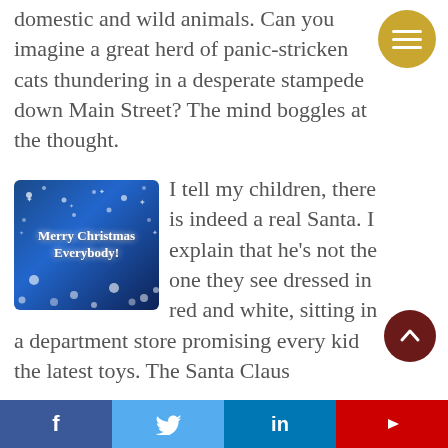domestic and wild animals. Can you imagine a great herd of panic-stricken cats thundering in a desperate stampede down Main Street? The mind boggles at the thought.
Thank goodness that the real Santa is not limited by the laws of physics. Oh, yes, as I tell my children, there is indeed a real Santa. I explain that he's not the one they see dressed in red and white, sitting in a department store promising every kid the latest toys. The Santa Claus
[Figure (illustration): Merry Christmas Everybody! greeting image with blue starry background and snowflakes]
Social share bar: Facebook, Twitter, LinkedIn, YouTube